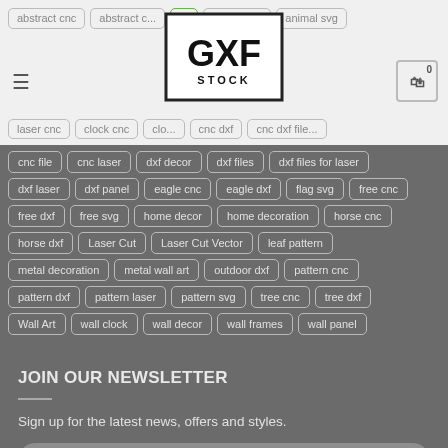GXF Stock — Navigation header with logo, hamburger menu, cart icon, and partial tag rows: abstract cnc, abstract c..., ..., animal dxf, animal svg, laser cnc, clock cnc, clo..., ..., cnc dxf, cnc dxf file...
cnc file
cnc laser
dxf decor
dxf files
dxf files for laser
dxf laser
dxf panel
eagle cnc
eagle dxf
flag svg
free cnc
free dxf
free svg
home decor
home decoration
horse cnc
horse dxf
Laser Cut
Laser Cut Vector
leaf pattern
metal decoration
metal wall art
outdoor dxf
pattern cnc
pattern dxf
pattern laser
pattern svg
tree cnc
tree dxf
Wall Art
wall clock
wall decor
wall frames
wall panel
JOIN OUR NEWSLETTER
Sign up for the latest news, offers and styles.
Your email